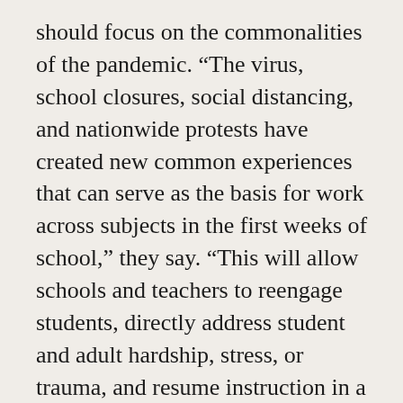should focus on the commonalities of the pandemic. “The virus, school closures, social distancing, and nationwide protests have created new common experiences that can serve as the basis for work across subjects in the first weeks of school,” they say. “This will allow schools and teachers to reengage students, directly address student and adult hardship, stress, or trauma, and resume instruction in a way that feels contextualized and responsive, helping students comprehend the world around them.” Every subject area – science, ELA, math, social studies, and more – can be part of this effort.